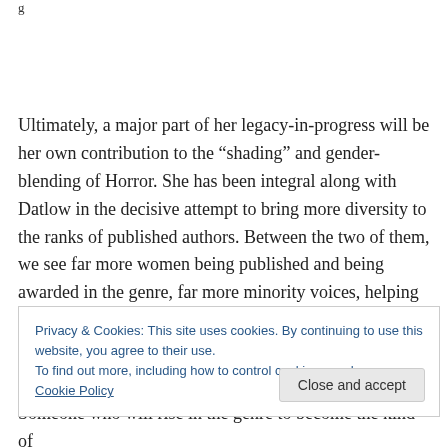g
Ultimately, a major part of her legacy-in-progress will be her own contribution to the “shading” and gender-blending of Horror. She has been integral along with Datlow in the decisive attempt to bring more diversity to the ranks of published authors. Between the two of them, we see far more women being published and being awarded in the genre, far more minority voices, helping to eradicate that
Privacy & Cookies: This site uses cookies. By continuing to use this website, you agree to their use.
To find out more, including how to control cookies, see here: Cookie Policy
Someone who will rise in the genre to become the kind of